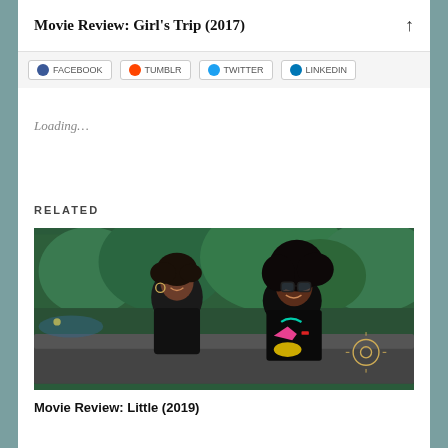Movie Review: Girl's Trip (2017)
[Figure (screenshot): Social sharing buttons: Facebook, Twitter, Tumblr, LinkedIn]
Loading...
RELATED
[Figure (photo): Two Black women sitting on a park bench outdoors with green trees behind them. One woman in all black is smiling at a younger girl wearing a black outfit with colorful graphic prints and large glasses. They appear to be laughing and interacting.]
Movie Review: Little (2019)